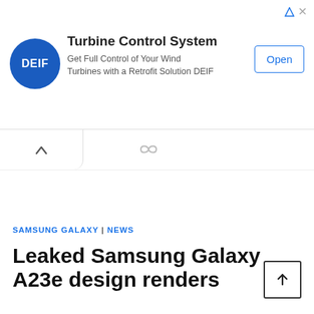[Figure (other): DEIF advertisement banner for Turbine Control System with logo, text, and Open button]
SAMSUNG GALAXY | NEWS
Leaked Samsung Galaxy A23e design renders